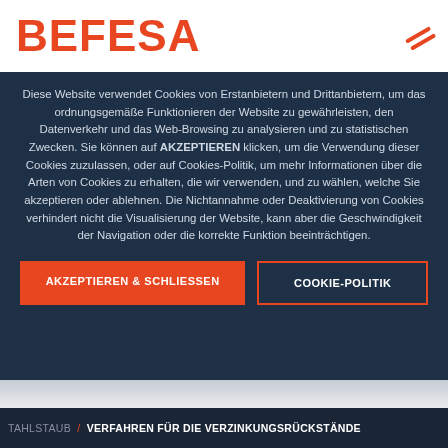[Figure (logo): BEFESA company logo in orange/red with double slash mark]
Diese Website verwendet Cookies von Erstanbietern und Drittanbietern, um das ordnungsgemäße Funktionieren der Website zu gewährleisten, den Datenverkehr und das Web-Browsing zu analysieren und zu statistischen Zwecken. Sie können auf AKZEPTIEREN klicken, um die Verwendung dieser Cookies zuzulassen, oder auf Cookies-Politik, um mehr Informationen über die Arten von Cookies zu erhalten, die wir verwenden, und zu wählen, welche Sie akzeptieren oder ablehnen. Die Nichtannahme oder Deaktivierung von Cookies verhindert nicht die Visualisierung der Website, kann aber die Geschwindigkeit der Navigation oder die korrekte Funktion beeinträchtigen.
AKZEPTIEREN & SCHLIESSEN
COOKIE-POLITIK
TAHLSTAUB / VERFAHREN FÜR DIE VERZINKUNGSRÜCKSTÄNDE